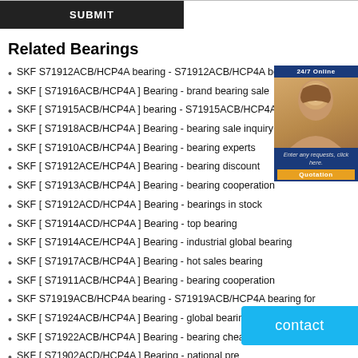[Figure (screenshot): Dark submit button bar with centered SUBMIT text]
Related Bearings
SKF S71912ACB/HCP4A bearing - S71912ACB/HCP4A bearing for
SKF [ S71916ACB/HCP4A ] Bearing - brand bearing sale
SKF [ S71915ACB/HCP4A ] bearing - S71915ACB/HCP4A bearing
SKF [ S71918ACB/HCP4A ] Bearing - bearing sale inquiry
SKF [ S71910ACB/HCP4A ] Bearing - bearing experts
SKF [ S71912ACE/HCP4A ] Bearing - bearing discount
SKF [ S71913ACB/HCP4A ] Bearing - bearing cooperation
SKF [ S71912ACD/HCP4A ] Bearing - bearings in stock
SKF [ S71914ACD/HCP4A ] Bearing - top bearing
SKF [ S71914ACE/HCP4A ] Bearing - industrial global bearing
SKF [ S71917ACB/HCP4A ] Bearing - hot sales bearing
SKF [ S71911ACB/HCP4A ] Bearing - bearing cooperation
SKF S71919ACB/HCP4A bearing - S71919ACB/HCP4A bearing for
SKF [ S71924ACB/HCP4A ] Bearing - global bearing brand
SKF [ S71922ACB/HCP4A ] Bearing - bearing chea...
SKF [ S71902ACD/HCP4A ] Bearing - national pre...
SKF [ S71918ACD/HCP4A ] Bearing - professional bearing agent